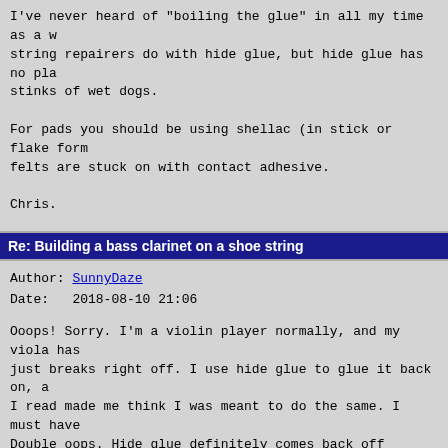I've never heard of "boiling the glue" in all my time as a w... string repairers do with hide glue, but hide glue has no pla... stinks of wet dogs.

For pads you should be using shellac (in stick or flake form... felts are stuck on with contact adhesive.

Chris.
Re: Building a bass clarinet on a shoe string
Author: SunnyDaze
Date:   2018-08-10 21:06
Ooops! Sorry. I'm a violin player normally, and my viola has just breaks right off. I use hide glue to glue it back on, a I read made me think I was meant to do the same. I must have Double oops. Hide glue definitely comes back off though. I t players use it.

Anyway, in better news, the keys are all polished and new pa place.

The neck and mouthpiece are assembled and make exactly the s noise that I was hoping for, with little vibration against m the body, the honking goes kind of woolly and more like a fo quite right. The mouthpiece also then vibrates so violently teeth right out. The neck is loose in the body and there is is the problem.